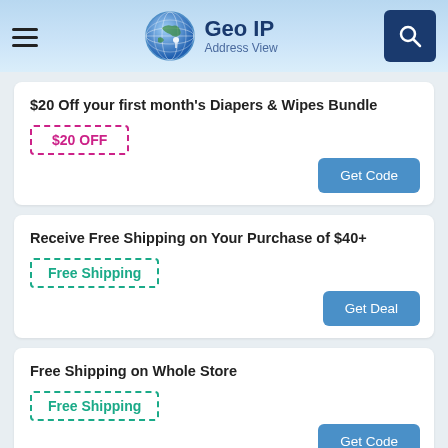Geo IP Address View
$20 Off your first month's Diapers & Wipes Bundle
$20 OFF
Get Code
Receive Free Shipping on Your Purchase of $40+
Free Shipping
Get Deal
Free Shipping on Whole Store
Free Shipping
Get Code